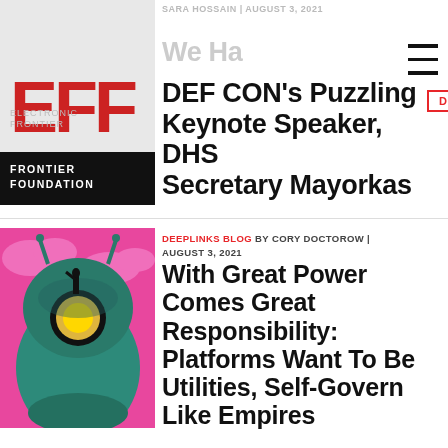[Figure (logo): Electronic Frontier Foundation (EFF) logo — red EFF text on white, with 'Electronic Frontier Foundation' text on dark bar]
SARA HOSSAIN | AUGUST 3, 2021
We Have Questions for DEF CON's Puzzling Keynote Speaker, DHS Secretary Mayorkas
[Figure (illustration): Illustration of a person standing on a giant green robot head under a glowing hatch, pink sky with clouds]
DEEPLINKS BLOG BY CORY DOCTOROW | AUGUST 3, 2021
With Great Power Comes Great Responsibility: Platforms Want To Be Utilities, Self-Govern Like Empires